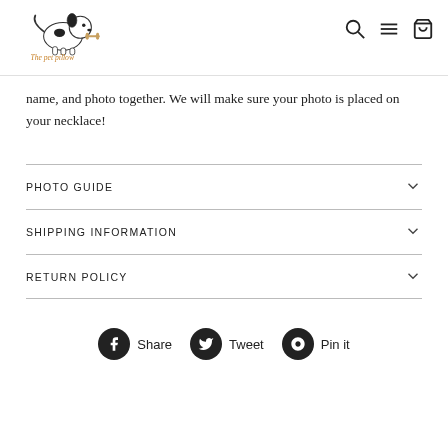[Figure (logo): The Pet Pillow logo - cartoon dog with text 'The pet pillow']
name, and photo together. We will make sure your photo is placed on your necklace!
PHOTO GUIDE
SHIPPING INFORMATION
RETURN POLICY
Share  Tweet  Pin it